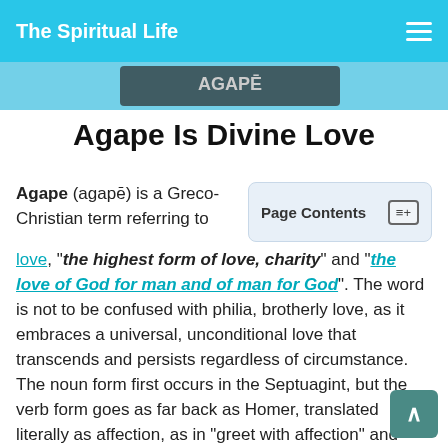The Spiritual Life
Agape Is Divine Love
Agape (agapē) is a Greco-Christian term referring to love, "the highest form of love, charity" and "the love of God for man and of man for God". The word is not to be confused with philia, brotherly love, as it embraces a universal, unconditional love that transcends and persists regardless of circumstance. The noun form first occurs in the Septuagint, but the verb form goes as far back as Homer, translated literally as affection, as in "greet with affection" and "show affection for the dead". Other ancient authors have used forms of the word to denote love, for name or family, affection for or association
Page Contents